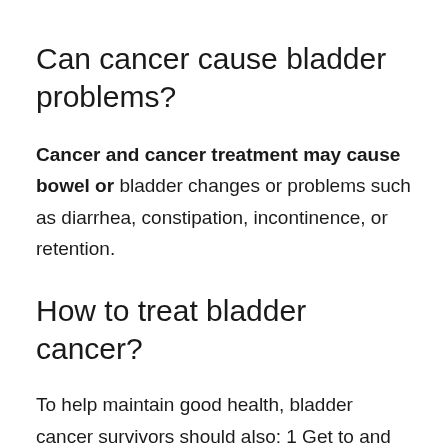Can cancer cause bladder problems?
Cancer and cancer treatment may cause bowel or bladder changes or problems such as diarrhea, constipation, incontinence, or retention.
How to treat bladder cancer?
To help maintain good health, bladder cancer survivors should also: 1 Get to and stay at a healthy weight. 2 Keep physically active and